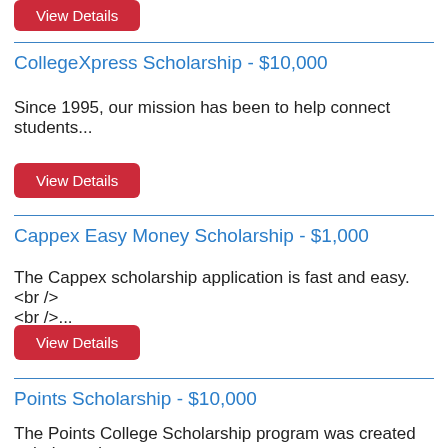View Details
CollegeXpress Scholarship - $10,000
Since 1995, our mission has been to help connect students...
View Details
Cappex Easy Money Scholarship - $1,000
The Cappex scholarship application is fast and easy.<br /> <br />...
View Details
Points Scholarship - $10,000
The Points College Scholarship program was created to help students...
View Details